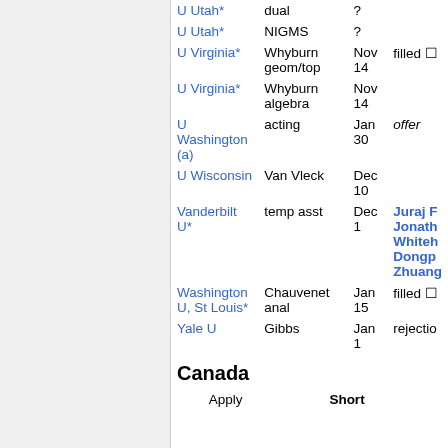| Institution | Position | Date | Status/Candidates |
| --- | --- | --- | --- |
| U Utah* | dual | ? |  |
| U Utah* | NIGMS | ? |  |
| U Virginia* | Whyburn geom/top | Nov 14 | filled □ |
| U Virginia* | Whyburn algebra | Nov 14 |  |
| U Washington (a) | acting | Jan 30 | offer |
| U Wisconsin | Van Vleck | Dec 10 |  |
| Vanderbilt U* | temp asst | Dec 1 | Juraj F Jonathan Whiteh Dongp Zhuang |
| Washington U, St Louis* | Chauvenet anal | Jan 15 | filled □ |
| Yale U | Gibbs | Jan 1 | rejection |
Canada
|  | Apply | Short |
| --- | --- | --- |